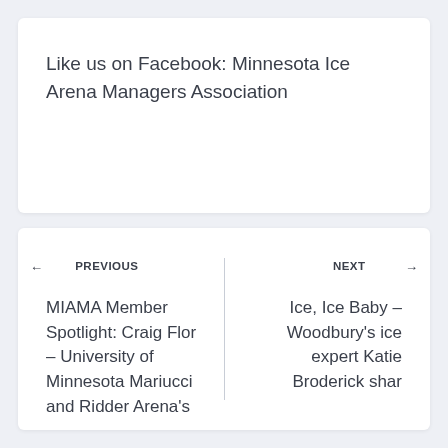Like us on Facebook: Minnesota Ice Arena Managers Association
← PREVIOUS
MIAMA Member Spotlight: Craig Flor – University of Minnesota Mariucci and Ridder Arena's
NEXT →
Ice, Ice Baby – Woodbury's ice expert Katie Broderick shar